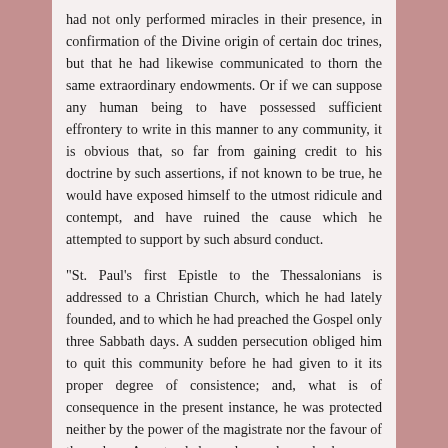had not only performed miracles in their presence, in confirmation of the Divine origin of certain doc trines, but that he had likewise communicated to thorn the same extraordinary endowments. Or if we can suppose any human being to have possessed sufficient effrontery to write in this manner to any community, it is obvious that, so far from gaining credit to his doctrine by such assertions, if not known to be true, he would have exposed himself to the utmost ridicule and contempt, and have ruined the cause which he attempted to support by such absurd conduct.
"St. Paul's first Epistle to the Thessalonians is addressed to a Christian Church, which he had lately founded, and to which he had preached the Gospel only three Sabbath days. A sudden persecution obliged him to quit this community before he had given to it its proper degree of consistence; and, what is of consequence in the present instance, he was protected neither by the power of the magistrate nor the favour of the vulgar. A pretended wonder worker, who has once drawn the populace to his party, may easily perform his exploits, and safely proclaim them. But this very populace, at the instigation